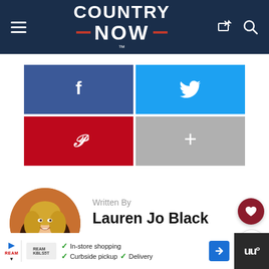Country Now
[Figure (infographic): Social share buttons grid: Facebook (blue), Twitter (cyan), Pinterest (red), More/plus (gray)]
[Figure (photo): Author headshot of Lauren Jo Black - woman with blonde hair smiling]
Written By
Lauren Jo Black
[Figure (infographic): Author social media icons: Twitter bird and Instagram camera]
[Figure (infographic): Advertisement bar at bottom: store shopping, curbside pickup, delivery options]
In-store shopping  Curbside pickup  Delivery